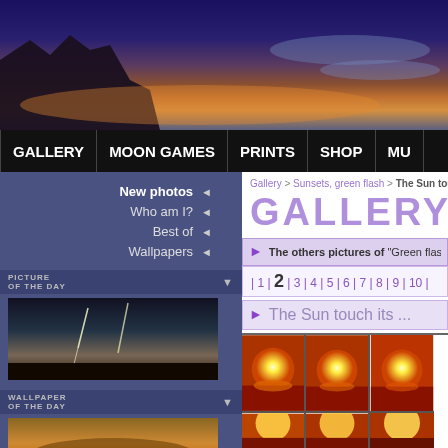[Figure (photo): Panoramic twilight/sunset banner with dark silhouetted rocks on the left and blue-purple sky with orange horizon glow]
GALLERY | MOON GAMES | PRINTS | SHOP | MU...
Gallery > Sunsets, green flash > The Sun touch its reflet...
GALLERY
The others pictures of "Green flash and blue flash"
| 1 | 2 | 3 | 4 | 5 | 6 | 7 | 8 | 9 | 10 |
The Sun touch its ...
[Figure (photo): Grid of sunset photos showing the sun touching its reflection on water, orange/red tones]
New photos
Who am I?
Best of
Wallpapers
PICTURE OF THE DAY
[Figure (photo): Small thumbnail: dark landscape with lightning or light streaks]
WALLPAPER OF THE DAY
[Figure (photo): Small thumbnail: sunset with clouds and orange glow]
MOST VIEWS FOR THIS CATEGORY
[Figure (photo): Small thumbnail: sunset with horizontal light streaks]